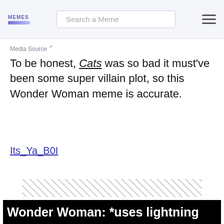MEMES | Search a Meme
Media Source
To be honest, Cats was so bad it must've been some super villain plot, so this Wonder Woman meme is accurate.
Its_Ya_B0I
[Figure (other): Hatched diagonal stripe pattern placeholder image]
3. The Coolest
[Figure (photo): Meme banner with white bold text on black background reading: Wonder Woman: *uses lightning]